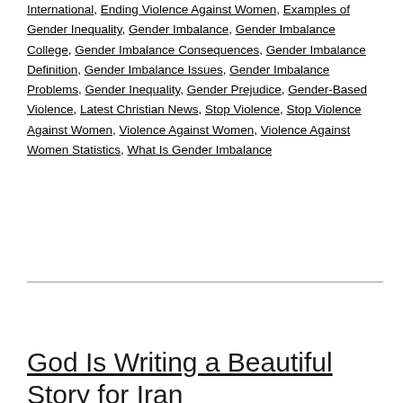International, Ending Violence Against Women, Examples of Gender Inequality, Gender Imbalance, Gender Imbalance College, Gender Imbalance Consequences, Gender Imbalance Definition, Gender Imbalance Issues, Gender Imbalance Problems, Gender Inequality, Gender Prejudice, Gender-Based Violence, Latest Christian News, Stop Violence, Stop Violence Against Women, Violence Against Women, Violence Against Women Statistics, What Is Gender Imbalance
God Is Writing a Beautiful Story for Iran